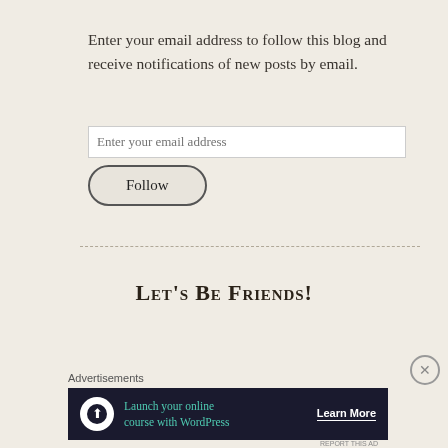Enter your email address to follow this blog and receive notifications of new posts by email.
[Figure (screenshot): Email input field with placeholder text 'Enter your email address']
[Figure (screenshot): Follow button with rounded pill border]
Let's Be Friends!
Advertisements
[Figure (infographic): Dark ad banner: 'Launch your online course with WordPress' with 'Learn More' CTA and WordPress icon]